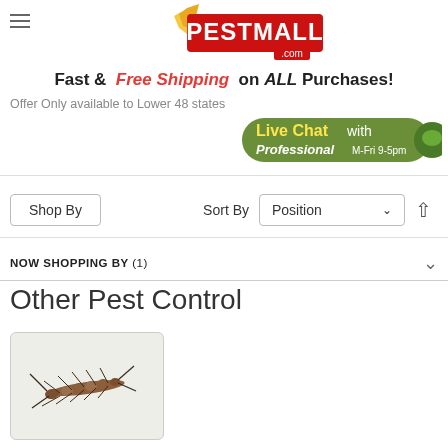PestMall.com — Fast & Free Shipping on ALL Purchases! Offer Only available to Lower 48 states
[Figure (logo): PestMall.com logo with bird and red banner]
Fast & Free Shipping on ALL Purchases!
Offer Only available to Lower 48 states
[Figure (infographic): Live Chat with Professional M-Fri 9-5pm green button]
Shop By
Sort By Position
NOW SHOPPING BY (1)
Other Pest Control
[Figure (photo): Centipede insect photo on gray background]